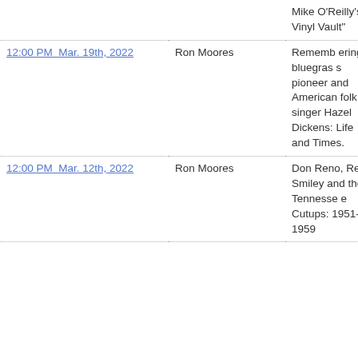| Date/Time | Host | Description |  |
| --- | --- | --- | --- |
|  |  | Mike O'Reilly's " Vinyl Vault" |  |
| 12:00 PM  Mar. 19th, 2022 | Ron Moores | Remembering bluegrass pioneer and American folk singer Hazel Dickens: Life and Times. |  |
| 12:00 PM  Mar. 12th, 2022 | Ron Moores | Don Reno, Red Smiley and the Tennessee Cutups: 1951-1959 |  |